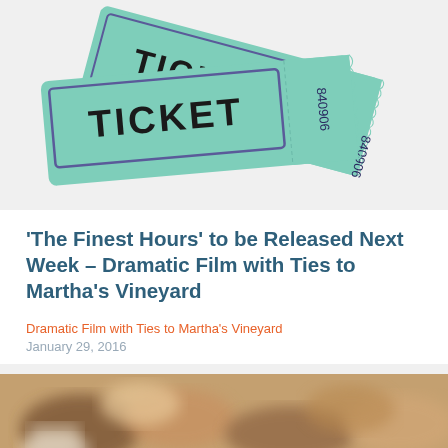[Figure (illustration): Two overlapping mint green raffle/admission tickets with 'TICKET' printed in large bold letters and serial number '840906' on the stub]
'The Finest Hours' to be Released Next Week – Dramatic Film with Ties to Martha's Vineyard
Dramatic Film with Ties to Martha's Vineyard
January 29, 2016
[Figure (photo): Blurred close-up photo of food items, appears to be pastries or baked goods with a cup]